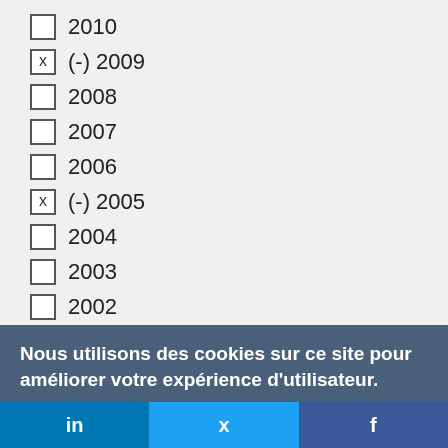2010
(-) 2009
2008
2007
2006
(-) 2005
2004
2003
2002
Nous utilisons des cookies sur ce site pour améliorer votre expérience d'utilisateur.
En cliquant sur un lien de cette page, vous nous donnez votre consentement de définir des cookies.
in  Twitter  f